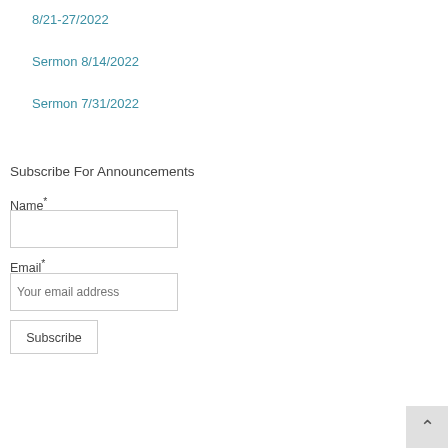8/21-27/2022
Sermon 8/14/2022
Sermon 7/31/2022
Subscribe For Announcements
Name*
Email*
Your email address
Subscribe